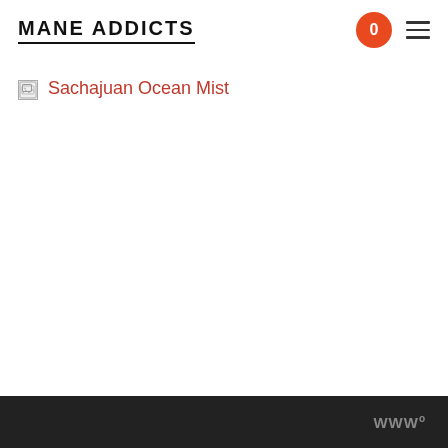MANE ADDICTS
[Figure (other): Broken image placeholder with alt text 'Sachajuan Ocean Mist' shown in red/orange color with a broken image icon]
WWo